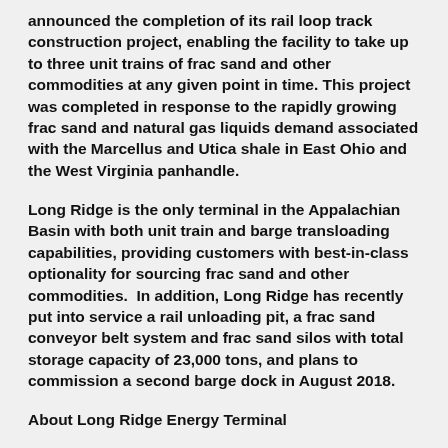announced the completion of its rail loop track construction project, enabling the facility to take up to three unit trains of frac sand and other commodities at any given point in time. This project was completed in response to the rapidly growing frac sand and natural gas liquids demand associated with the Marcellus and Utica shale in East Ohio and the West Virginia panhandle.
Long Ridge is the only terminal in the Appalachian Basin with both unit train and barge transloading capabilities, providing customers with best-in-class optionality for sourcing frac sand and other commodities.  In addition, Long Ridge has recently put into service a rail unloading pit, a frac sand conveyor belt system and frac sand silos with total storage capacity of 23,000 tons, and plans to commission a second barge dock in August 2018.
About Long Ridge Energy Terminal